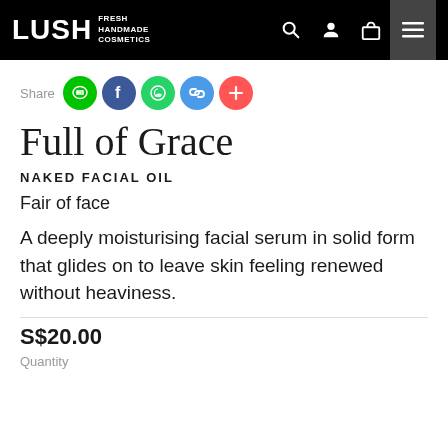[Figure (logo): LUSH FRESH HANDMADE COSMETICS logo in white on black header bar, with navigation icons (search, user, bag) and hamburger menu]
Share
[Figure (infographic): Social share buttons: LINE (green), Facebook (dark blue), WhatsApp (green), link (blue), plus/more (red-orange)]
Full of Grace
NAKED FACIAL OIL
Fair of face
A deeply moisturising facial serum in solid form that glides on to leave skin feeling renewed without heaviness.
S$20.00
Quantity